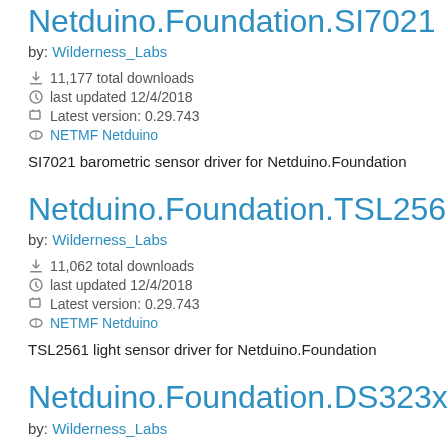Netduino.Foundation.SI7021
by: Wilderness_Labs
11,177 total downloads
last updated 12/4/2018
Latest version: 0.29.743
NETMF Netduino
SI7021 barometric sensor driver for Netduino.Foundation
Netduino.Foundation.TSL2561
by: Wilderness_Labs
11,062 total downloads
last updated 12/4/2018
Latest version: 0.29.743
NETMF Netduino
TSL2561 light sensor driver for Netduino.Foundation
Netduino.Foundation.DS323x
by: Wilderness_Labs